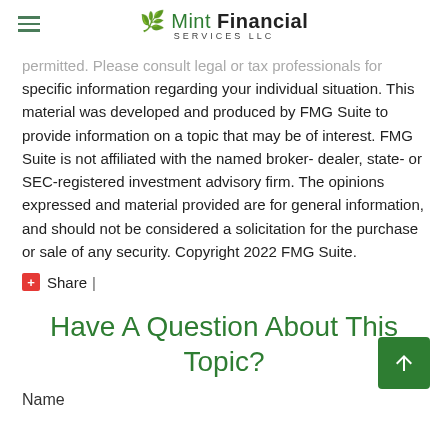Mint Financial Services LLC
permitted. Please consult legal or tax professionals for specific information regarding your individual situation. This material was developed and produced by FMG Suite to provide information on a topic that may be of interest. FMG Suite is not affiliated with the named broker-dealer, state- or SEC-registered investment advisory firm. The opinions expressed and material provided are for general information, and should not be considered a solicitation for the purchase or sale of any security. Copyright 2022 FMG Suite.
Share |
Have A Question About This Topic?
Name